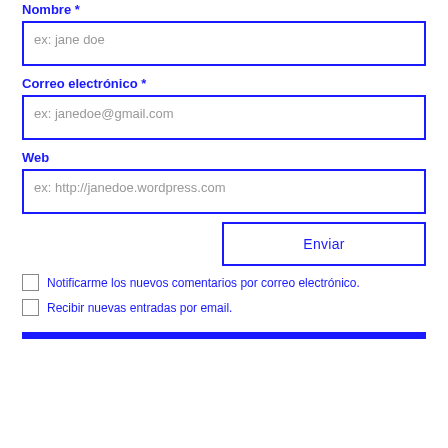Nombre *
ex: jane doe
Correo electrónico *
ex: janedoe@gmail.com
Web
ex: http://janedoe.wordpress.com
Enviar
Notificarme los nuevos comentarios por correo electrónico.
Recibir nuevas entradas por email.